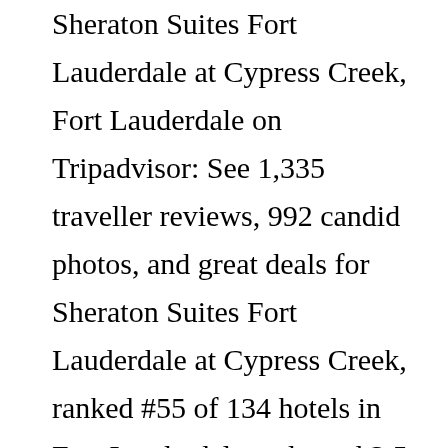Sheraton Suites Fort Lauderdale at Cypress Creek, Fort Lauderdale on Tripadvisor: See 1,335 traveller reviews, 992 candid photos, and great deals for Sheraton Suites Fort Lauderdale at Cypress Creek, ranked #55 of 134 hotels in Fort Lauderdale and rated 3.5 of 5 at Tripadvisor. Get on I-95 N in Fort Lauderdale from Terminal Dr, Perimeter Rd, SW 4th Ave and Marina Mile Blvd, Head northwest toward Terminal Dr/Upper Terminal Dr, Slight left toward Lower Terminal Dr/Terminal Dr, Continue straight